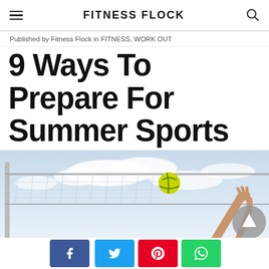FITNESS FLOCK
Published by Fitness Flock in FITNESS, WORK OUT
9 Ways To Prepare For Summer Sports
[Figure (photo): Beach volleyball player jumping to hit ball over a net against a cloudy sky background]
Social share buttons: Facebook, Twitter, Pinterest, WhatsApp